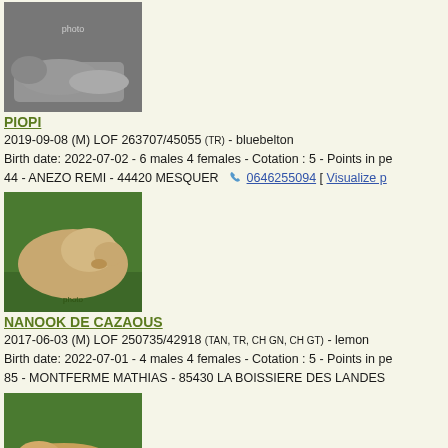[Figure (photo): Black and white photo of a dog lying in a field]
PIOPI
2019-09-08 (M) LOF 263707/45055 (TR) - bluebelton
Birth date: 2022-07-02 - 6 males 4 females - Cotation : 5 - Points in pe
44 - ANEZO REMI - 44420 MESQUER  0646255094 [ Visualize p
[Figure (photo): Photo of a light-colored spaniel dog sitting in green grass]
NANOOK DE CAZAOUS
2017-06-03 (M) LOF 250735/42918 (TAN, TR, CH GN, CH GT) - lemon
Birth date: 2022-07-01 - 4 males 4 females - Cotation : 5 - Points in pe
85 - MONTFERME MATHIAS - 85430 LA BOISSIERE DES LANDES
[Figure (photo): Photo of a small dog running or crouching low in a green field]
MODJO DE LA PLUME DU PÉVÈLE
2016-06-20 (M) LOF 247517/42482 (CH GQ) - bluebelton
Planned birth date: 2022-07-01 - Cotation : 5 - Points in pedigree: 30